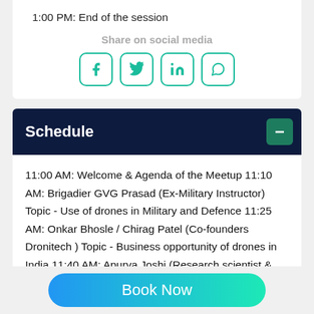1:00 PM: End of the session
Share on social media
[Figure (infographic): Four social media icon buttons (Facebook, Twitter, LinkedIn, WhatsApp) with teal/green borders and icons.]
Schedule
11:00 AM: Welcome & Agenda of the Meetup 11:10 AM: Brigadier GVG Prasad (Ex-Military Instructor) Topic - Use of drones in Military and Defence 11:25 AM: Onkar Bhosle / Chirag Patel (Co-founders Dronitech ) Topic - Business opportunity of drones in India 11:40 AM: Apurva Joshi (Research scientist & Director Of Research & Development at Dronited) Topic - Status of the present future of dr...
Book Now